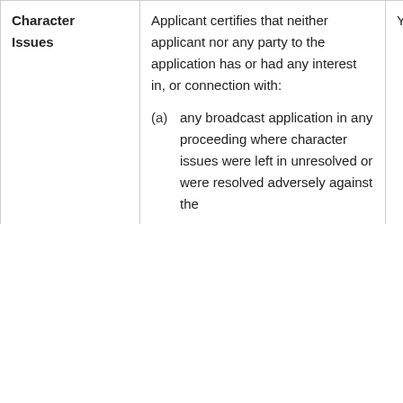| Character Issues | Description | Response |
| --- | --- | --- |
| Character Issues | Applicant certifies that neither applicant nor any party to the application has or had any interest in, or connection with:
(a) any broadcast application in any proceeding where character issues were left in unresolved or were resolved adversely against the | Yes |